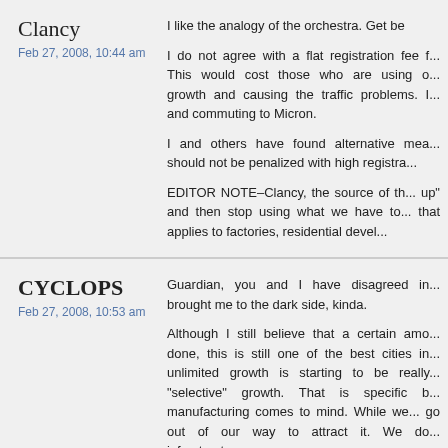Clancy
Feb 27, 2008, 10:44 am
I like the analogy of the orchestra. Get be
I do not agree with a flat registration fee f... This would cost those who are using o... growth and causing the traffic problems. I... and commuting to Micron.
I and others have found alternative mea... should not be penalized with high registra...
EDITOR NOTE–Clancy, the source of th... up" and then stop using what we have to... that applies to factories, residential devel...
CYCLOPS
Feb 27, 2008, 10:53 am
Guardian, you and I have disagreed in... brought me to the dark side, kinda.
Although I still believe that a certain amo... done, this is still one of the best cities in... unlimited growth is starting to be really... "selective" growth. That is specific b... manufacturing comes to mind. While we... go out of our way to attract it. We do... infrastructure.